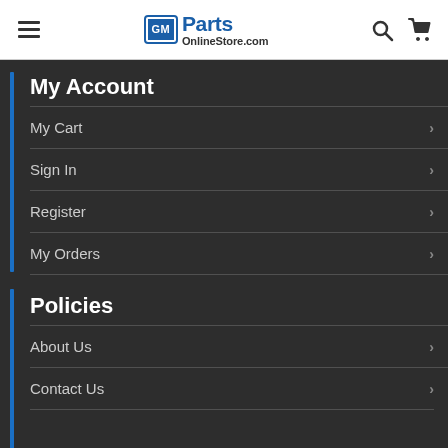GM Parts OnlineStore.com — navigation header with hamburger menu, logo, search and cart icons
My Account
My Cart
Sign In
Register
My Orders
Policies
About Us
Contact Us